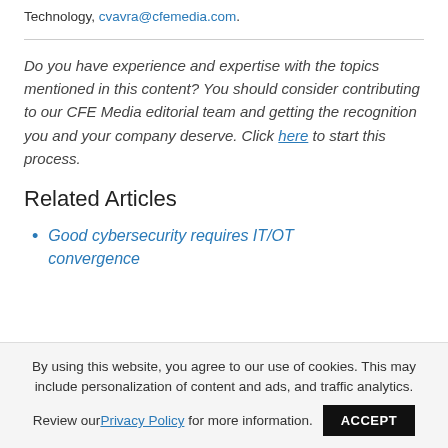Technology, cvavra@cfemedia.com.
Do you have experience and expertise with the topics mentioned in this content? You should consider contributing to our CFE Media editorial team and getting the recognition you and your company deserve. Click here to start this process.
Related Articles
Good cybersecurity requires IT/OT convergence
By using this website, you agree to our use of cookies. This may include personalization of content and ads, and traffic analytics. Review our Privacy Policy for more information.